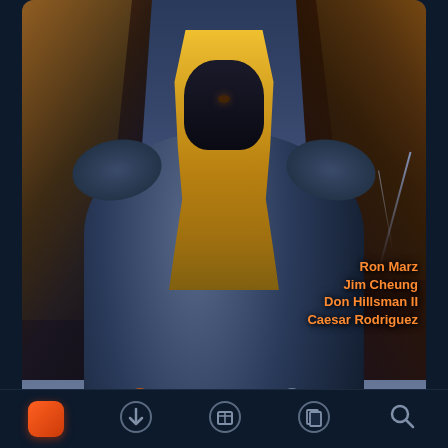[Figure (illustration): Comic book cover showing an armored figure with long blonde hair kneeling, wearing black and silver armor, with other figures on the sides. Authors listed: Ron Marz, Jim Cheung, Don Hillsman II, Caesar Rodriguez. Japanese kanji text on left side.]
Ron Marz
Jim Cheung
Don Hillsman II
Caesar Rodriguez
< PREV
SERIES ^
NEXT >
63
24
6